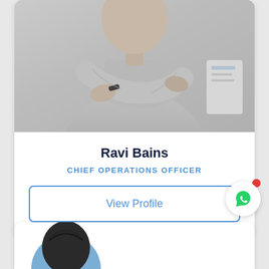[Figure (photo): Black and white photograph of a man with arms crossed wearing a light grey long-sleeve top, partial torso and arms visible]
Ravi Bains
CHIEF OPERATIONS OFFICER
View Profile
[Figure (photo): Partial view of another person's head at the bottom of the page, with a blue circular avatar/button on the left]